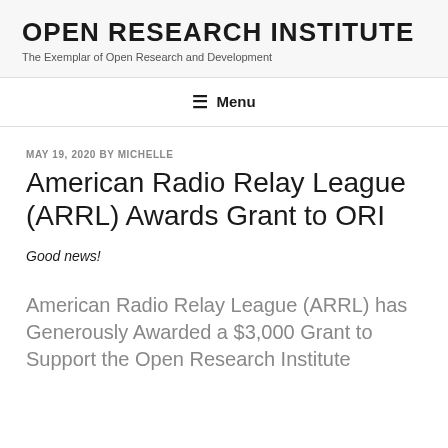OPEN RESEARCH INSTITUTE
The Exemplar of Open Research and Development
☰ Menu
MAY 19, 2020 BY MICHELLE
American Radio Relay League (ARRL) Awards Grant to ORI
Good news!
American Radio Relay League (ARRL) has Generously Awarded a $3,000 Grant to Support the Open Research Institute